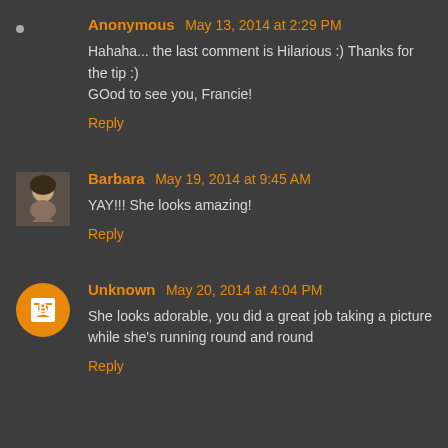Anonymous May 13, 2014 at 2:29 PM
Hahaha... the last comment is Hilarious :) Thanks for the tip :)
GOod to see you, Francie!
Reply
Barbara May 19, 2014 at 9:45 AM
YAY!!! She looks amazing!
Reply
Unknown May 20, 2014 at 4:04 PM
She looks adorable, you did a great job taking a picture while she's running round and round
Reply